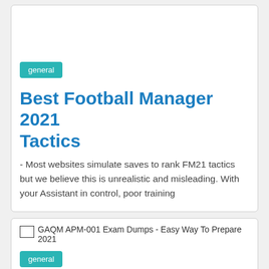[Figure (other): White space / image area at top of first card (blank)]
general
Best Football Manager 2021 Tactics
- Most websites simulate saves to rank FM21 tactics but we believe this is unrealistic and misleading. With your Assistant in control, poor training
[Figure (other): Image placeholder: GAQM APM-001 Exam Dumps - Easy Way To Prepare 2021]
general